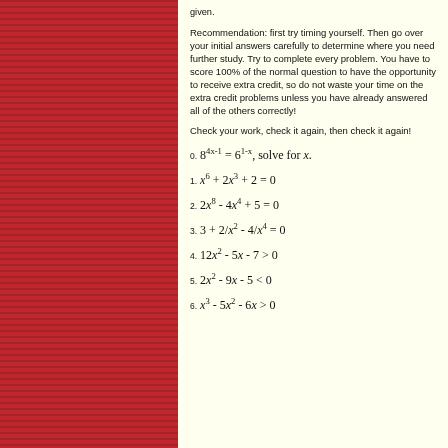[Figure (illustration): Dark red/crimson decorative panel on the left side of the page with horizontal stripe texture]
Recommendation: first try timing yourself. Then go over your initial answers carefully to determine where you need further study. Try to complete every problem. You have to score 100% of the normal question to have the opportunity to receive extra credit, so do not waste your time on the extra credit problems unless you have already answered all of the others correctly!
Check your work, check it again, then check it again!